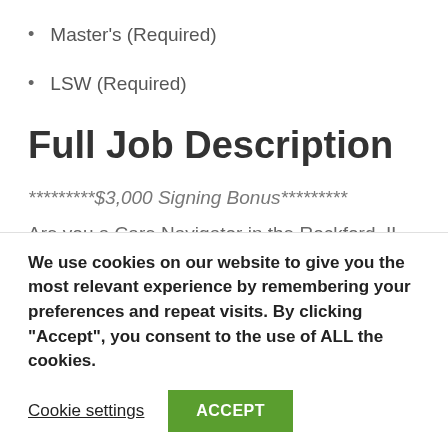Master's (Required)
LSW (Required)
Full Job Description
*********$3,000 Signing Bonus*********
Are you a Care Navigator in the Rockford, IL area
We use cookies on our website to give you the most relevant experience by remembering your preferences and repeat visits. By clicking “Accept”, you consent to the use of ALL the cookies.
Cookie settings
ACCEPT